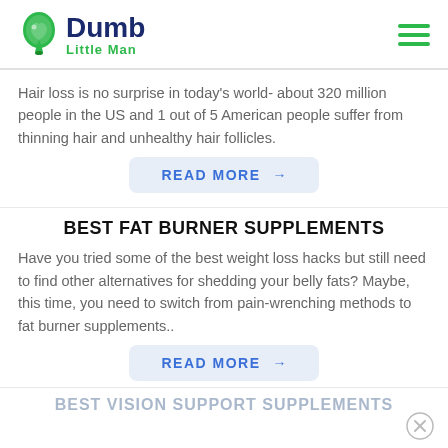Dumb Little Man
Hair loss is no surprise in today’s world- about 320 million people in the US and 1 out of 5 American people suffer from thinning hair and unhealthy hair follicles.
READ MORE →
BEST FAT BURNER SUPPLEMENTS
Have you tried some of the best weight loss hacks but still need to find other alternatives for shedding your belly fats? Maybe, this time, you need to switch from pain-wrenching methods to fat burner supplements..
READ MORE →
BEST VISION SUPPORT SUPPLEMENTS